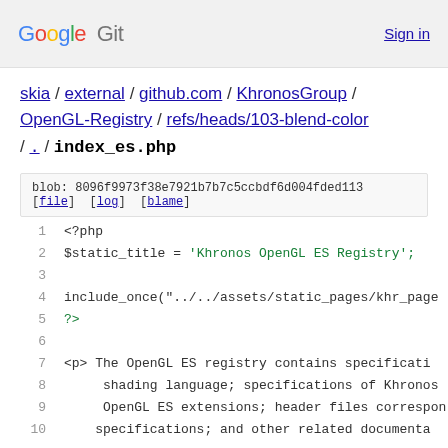Google Git   Sign in
skia / external / github.com / KhronosGroup / OpenGL-Registry / refs/heads/103-blend-color / . / index_es.php
blob: 8096f9973f38e7921b7b7c5ccbdf6d004fded113
[file]  [log]  [blame]
1  <?php
2  $static_title = 'Khronos OpenGL ES Registry';
3
4  include_once("../../assets/static_pages/khr_page
5  ?>
6
7  <p> The OpenGL ES registry contains specificati
8       shading language; specifications of Khronos
9       OpenGL ES extensions; header files correspon
10      specifications; and other related documenta